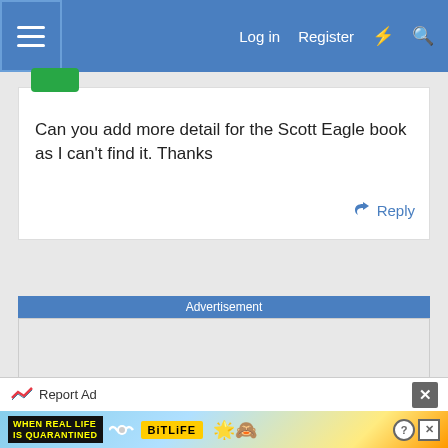Log in   Register
Can you add more detail for the Scott Eagle book as I can't find it. Thanks
Reply
Advertisement
Report Ad
[Figure (screenshot): BitLife mobile game advertisement: 'WHEN REAL LIFE IS QUARANTINED' with BitLife logo and emoji characters]